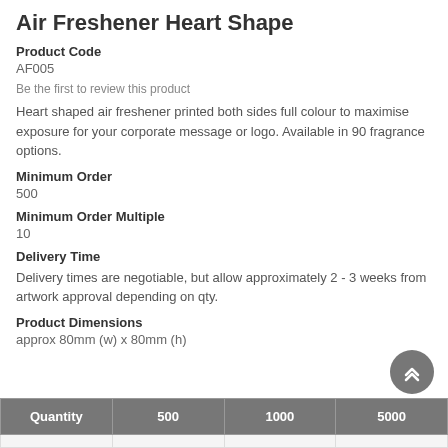Air Freshener Heart Shape
Product Code
AF005
Be the first to review this product
Heart shaped air freshener printed both sides full colour to maximise exposure for your corporate message or logo. Available in 90 fragrance options.
Minimum Order
500
Minimum Order Multiple
10
Delivery Time
Delivery times are negotiable, but allow approximately 2 - 3 weeks from artwork approval depending on qty.
Product Dimensions
approx 80mm (w) x 80mm (h)
| Quantity | 500 | 1000 | 5000 |
| --- | --- | --- | --- |